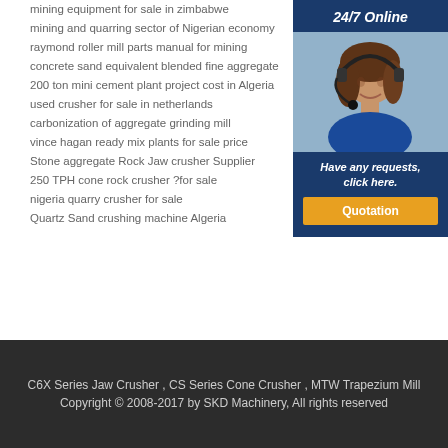mining equipment for sale in zimbabwe
mining and quarring sector of Nigerian economy
raymond roller mill parts manual for mining
concrete sand equivalent blended fine aggregate
200 ton mini cement plant project cost in Algeria
used crusher for sale in netherlands
carbonization of aggregate grinding mill
vince hagan ready mix plants for sale price
Stone aggregate Rock Jaw crusher Supplier
250 TPH cone rock crusher ?for sale
nigeria quarry crusher for sale
Quartz Sand crushing machine Algeria
[Figure (photo): 24/7 Online sidebar with a woman wearing a headset, dark blue background, 'Have any requests, click here.' text and a Quotation button in orange]
C6X Series Jaw Crusher , CS Series Cone Crusher , MTW Trapezium Mill
Copyright © 2008-2017 by SKD Machinery, All rights reserved